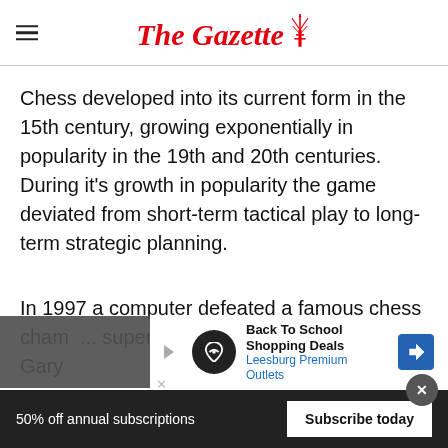The Gazette
Chess developed into its current form in the 15th century, growing exponentially in popularity in the 19th and 20th centuries. During it's growth in popularity the game deviated from short-term tactical play to long-term strategic planning.
In 1997 a computer defeated a famous chess champion... supercomputer Deep Blue defeated Gary
[Figure (other): Advertisement banner: Back To School Shopping Deals - Leesburg Premium Outlets]
50% off annual subscriptions  Subscribe today